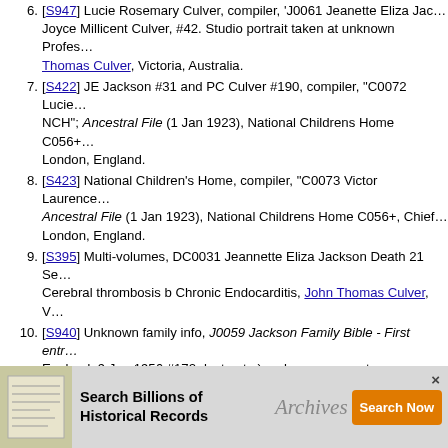6. [S947] Lucie Rosemary Culver, compiler, 'J0061 Jeanette Eliza Jac... Joyce Millicent Culver, #42. Studio portrait taken at unknown Profes... Thomas Culver, Victoria, Australia.
7. [S422] JE Jackson #31 and PC Culver #190, compiler, "C0072 Luci... NCH"; Ancestral File (1 Jan 1923), National Childrens Home C056+... London, England.
8. [S423] National Children's Home, compiler, "C0073 Victor Laurence... Ancestral File (1 Jan 1923), National Childrens Home C056+, Chief... London, England.
9. [S395] Multi-volumes, DC0031 Jeannette Eliza Jackson Death 21 Se... Cerebral thrombosis b Chronic Endocarditis, John Thomas Culver, V...
10. [S940] Unknown family info, J0059 Jackson Family Bible - First entr... England, 9 Jun 1956 #172 -last entry); unknown present owner, unk...
11. [S396] Unknown name of person, WL0031 Jeannette Eliza Culver W... Thomas Culver, Victoria, Australia.
12. [S462] Letter from Sister Joyce Millicent Culver ('The Ridge 'Hurtmo... National Childrens Home C056+ (Chief Offices: 104-122 City Road,...
13. [S458] Letter from NCH (unknown author address) to Sister Joyce M... Childrens Home C056+ (Chief Offices: 104-122 City Road, Islington,...
14. [S463] Letter from Sister Joyce Millicent Culver (The Ridge, Hurtmo... National Childrens Home C056+ (Chief Offices: 104-122 City Road,...
15. [S149] Lucie Rosemary CULVER (6), compiler, "Oral History/Informa... Ancestral File (Before 11 Feb 2002), unknown repository, unknown r...
16. [S508] Multi-volumes, MC0042/0170 J M Culver and D F Dibble Ma... 1993), General Register Office, PO Box 2, Southport, Merseyside, E...
17. [S...] ... First entr... En... owner, unk... give...
[Figure (infographic): Advertisement banner: 'Search Billions of Historical Records' with Archives.com logo and orange 'Search Now' button, with a close X button and a thumbnail of an old document.]